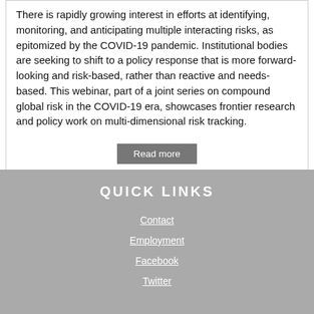There is rapidly growing interest in efforts at identifying, monitoring, and anticipating multiple interacting risks, as epitomized by the COVID-19 pandemic. Institutional bodies are seeking to shift to a policy response that is more forward-looking and risk-based, rather than reactive and needs-based. This webinar, part of a joint series on compound global risk in the COVID-19 era, showcases frontier research and policy work on multi-dimensional risk tracking.
Read more
QUICK LINKS
Contact
Employment
Facebook
Twitter